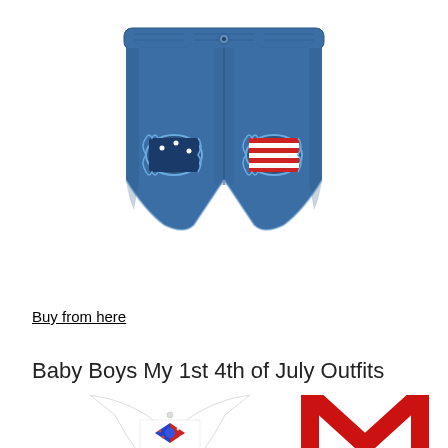[Figure (photo): Denim shorts with distressed ripped knees showing American flag fabric underneath, with elastic waistband and button closure]
Buy from here
Baby Boys My 1st 4th of July Outfits
[Figure (photo): Baby boy outfit with white onesie featuring blue and red patriotic bow tie, and red suspenders forming an M shape]